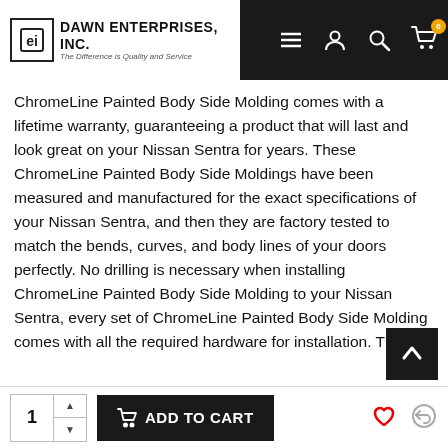Dawn Enterprises, Inc. — The Difference is Quality and Service
ChromeLine Painted Body Side Molding comes with a lifetime warranty, guaranteeing a product that will last and look great on your Nissan Sentra for years. These ChromeLine Painted Body Side Moldings have been measured and manufactured for the exact specifications of your Nissan Sentra, and then they are factory tested to match the bends, curves, and body lines of your doors perfectly. No drilling is necessary when installing ChromeLine Painted Body Side Molding to your Nissan Sentra, every set of ChromeLine Painted Body Side Molding comes with all the required hardware for installation. The entire installation process takes under an hour, and no prior installation experience is necessary. Protect your Nissan Sentra and enhance the visual appeal of it with the easy installation of ChromeLine Painted Body Side Moldings from Dawn Enterprises. Order a set of ChromeLine Painted Body